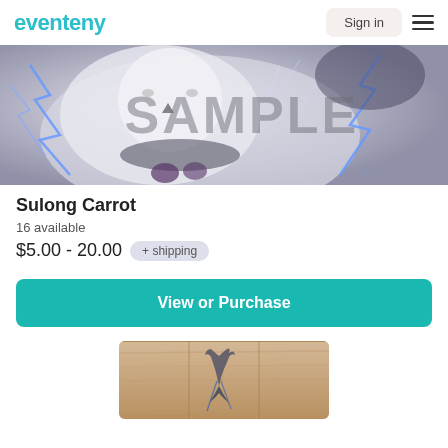eventeny — Sign in
[Figure (illustration): Stylized anime-style illustration of a white rabbit/lion character with flowing hair and blue lightning accents, with a large SAMPLE watermark overlay]
Sulong Carrot
16 available
$5.00 - 20.00  + shipping
View or Purchase
[Figure (photo): Partial photo of a wooden board with a bird illustration, background visible at bottom of page]